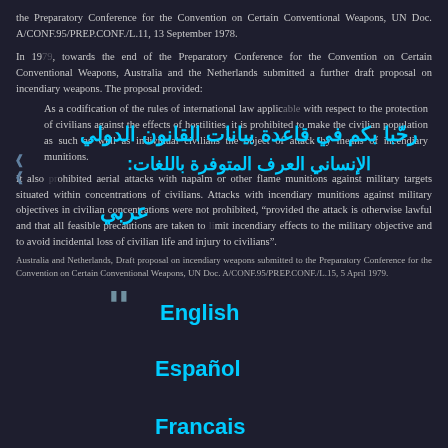the Preparatory Conference for the Convention on Certain Conventional Weapons, UN Doc. A/CONF.95/PREP.CONF./L.11, 13 September 1978.
In 1979, towards the end of the Preparatory Conference for the Convention on Certain Conventional Weapons, Australia and the Netherlands submitted a further draft proposal on incendiary weapons. The proposal provided:
As a codification of the rules of international law applicable with respect to the protection of civilians against the effects of hostilities, it is prohibited to make the civilian population as such as well as individual civilians the object of attack by means of incendiary munitions.
It also prohibited aerial attacks with napalm or other flame munitions against military targets situated within concentrations of civilians. Attacks with incendiary munitions against military objectives in civilian concentrations were not prohibited, "provided the attack is otherwise lawful and that all feasible precautions are taken to limit incendiary effects to the military objective and to avoid incidental loss of civilian life and injury to civilians".
Australia and Netherlands, Draft proposal on incendiary weapons submitted to the Preparatory Conference for the Convention on Certain Conventional Weapons, UN Doc. A/CONF.95/PREP.CONF./L.15, 5 April 1979.